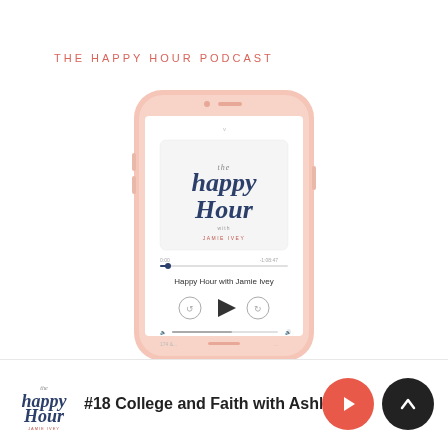THE HAPPY HOUR PODCAST
[Figure (illustration): A smartphone displaying the Happy Hour with Jamie Ivey podcast app, showing the podcast artwork with stylized text 'the happy Hour with Jamie Ivey', a progress bar, playback controls including rewind, play, and fast-forward buttons, and the title 'Happy Hour with Jamie Ivey']
[Figure (logo): The Happy Hour with Jamie Ivey podcast logo in navy blue script lettering]
#18 College and Faith with Ashley Mi
[Figure (other): Coral/red play button circle and black up-arrow circle button]